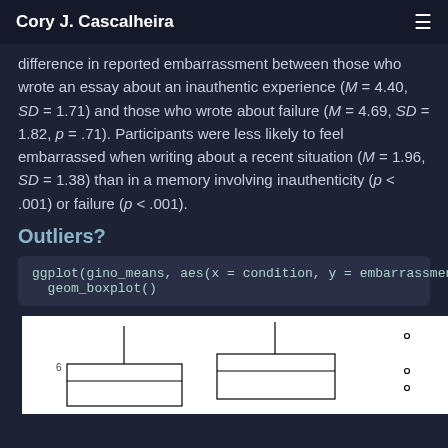Cory J. Cascalheira
difference in reported embarrassment between those who wrote an essay about an inauthentic experience (M = 4.40, SD = 1.71) and those who wrote about failure (M = 4.69, SD = 1.82, p = .71). Participants were less likely to feel embarrassed when writing about a recent situation (M = 1.96, SD = 1.38) than in a memory involving inauthenticity (p < .001) or failure (p < .001).
Outliers?
[Figure (other): Partial boxplot chart showing three box plots for different conditions, with y-axis label around 6 visible. White background with black boxes and whiskers.]